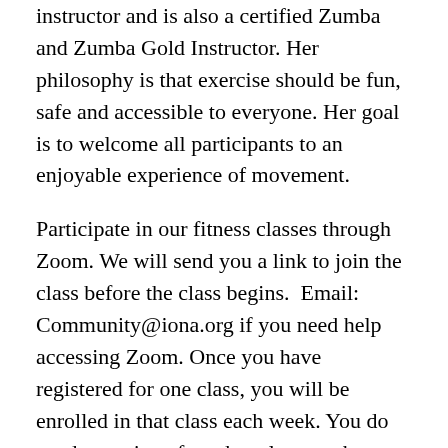instructor and is also a certified Zumba and Zumba Gold Instructor. Her philosophy is that exercise should be fun, safe and accessible to everyone. Her goal is to welcome all participants to an enjoyable experience of movement.
Participate in our fitness classes through Zoom. We will send you a link to join the class before the class begins.  Email: Community@iona.org if you need help accessing Zoom. Once you have registered for one class, you will be enrolled in that class each week. You do need to register for other classes other days. Please register by 9:00 pm the night before the class is to take place. Registrants after 9:00 pm may not be invited to the class the following day.